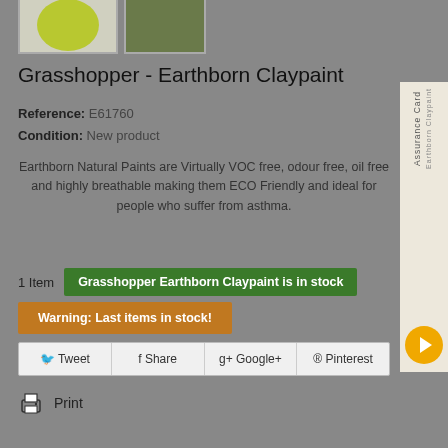[Figure (photo): Two product thumbnail images - one showing a green circular paint swatch, one showing a nature/grass photo]
Grasshopper - Earthborn Claypaint
Reference: E61760
Condition: New product
Earthborn Natural Paints are Virtually VOC free, odour free, oil free and highly breathable making them ECO Friendly and ideal for people who suffer from asthma.
1 Item   Grasshopper Earthborn Claypaint is in stock
Warning: Last items in stock!
Tweet   Share   Google+   Pinterest
Print